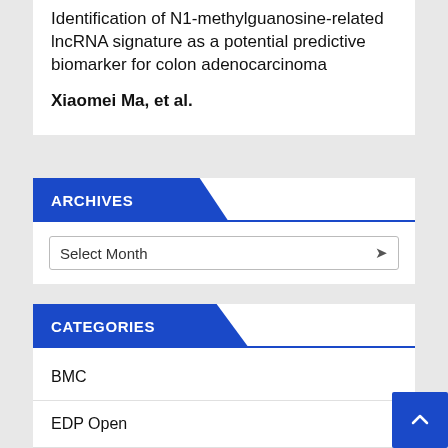Identification of N1-methylguanosine-related lncRNA signature as a potential predictive biomarker for colon adenocarcinoma
Xiaomei Ma, et al.
ARCHIVES
Select Month
CATEGORIES
BMC
EDP Open